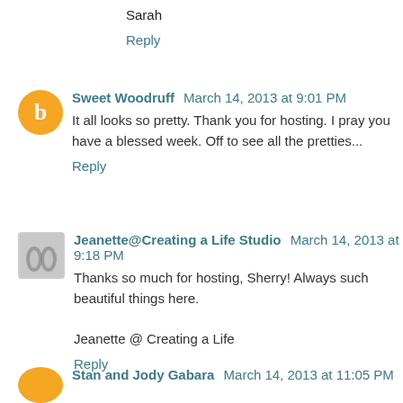Sarah
Reply
Sweet Woodruff March 14, 2013 at 9:01 PM
It all looks so pretty. Thank you for hosting. I pray you have a blessed week. Off to see all the pretties...
Reply
Jeanette@Creating a Life Studio March 14, 2013 at 9:18 PM
Thanks so much for hosting, Sherry! Always such beautiful things here.

Jeanette @ Creating a Life
Reply
Stan and Jody Gabara March 14, 2013 at 11:05 PM